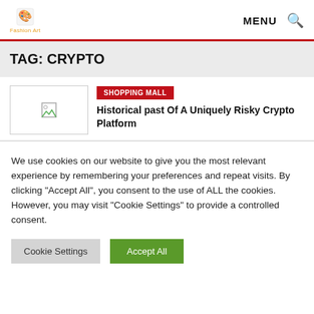Fashion Art | MENU
TAG: CRYPTO
[Figure (photo): Broken image thumbnail placeholder]
SHOPPING MALL
Historical past Of A Uniquely Risky Crypto Platform
We use cookies on our website to give you the most relevant experience by remembering your preferences and repeat visits. By clicking "Accept All", you consent to the use of ALL the cookies. However, you may visit "Cookie Settings" to provide a controlled consent.
Cookie Settings | Accept All